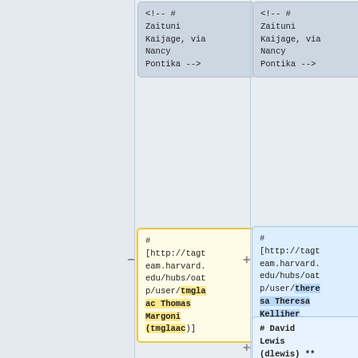[Figure (screenshot): Diff view showing two columns. Left column has a gray box with comment text '<!-- # Zaituni Kaijage, via Nancy Pontika -->' and a yellow box with removed content showing a URL and 'Thomas Margoni (tmglaac)'. Right column has a gray box with identical comment and a blue box with added content showing a URL and 'Theresa Kelliher (theresa) (approved October 8, 2020)', plus another blue box with '# David Lewis (dlewis) ** (approved'.]